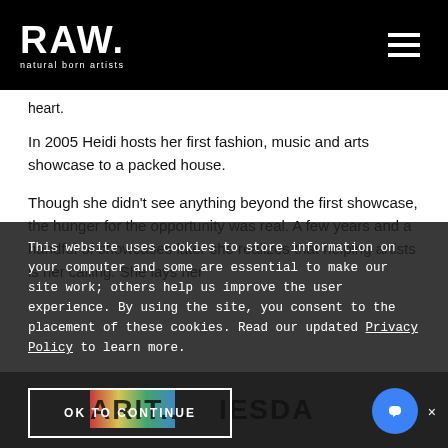RAW natural born artists
heart.
In 2005 Heidi hosts her first fashion, music and arts showcase to a packed house.
Though she didn't see anything beyond the first showcase, the hunger for the opportunity was real. A few years and a handful of showcases later she realizes that helping artists is her calling. She lays her
This website uses cookies to store information on your computer and some are essential to make our site work; others help us improve the user experience. By using the site, you consent to the placement of these cookies. Read our updated Privacy Policy to learn more.
[Figure (screenshot): Bottom image area with colorful graphic and dark text overlay reading partial text]
OK TO CONTINUE